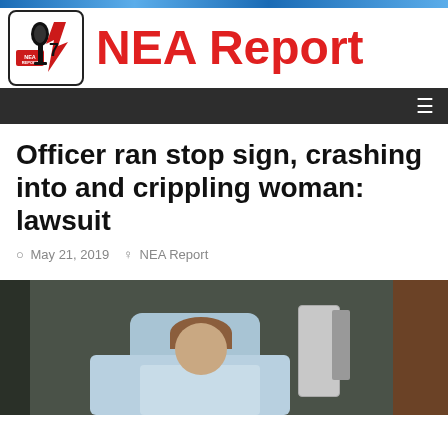[Figure (logo): NEA Report logo - microphone with lightning bolt and number 7, red and black color scheme]
NEA Report
Navigation bar with hamburger menu
Officer ran stop sign, crashing into and crippling woman: lawsuit
May 21, 2019  NEA Report
[Figure (photo): Woman lying in hospital bed wearing a light blue hospital gown, propped up on pillows, with hospital equipment visible in background]